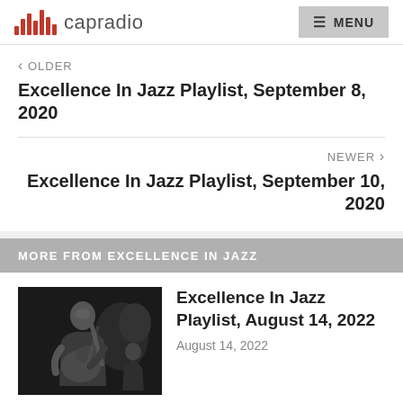capradio MENU
< OLDER
Excellence In Jazz Playlist, September 8, 2020
NEWER >
Excellence In Jazz Playlist, September 10, 2020
MORE FROM EXCELLENCE IN JAZZ
[Figure (photo): Black and white photo of a jazz guitarist performing on stage, with another musician visible in the background]
Excellence In Jazz Playlist, August 14, 2022
August 14, 2022